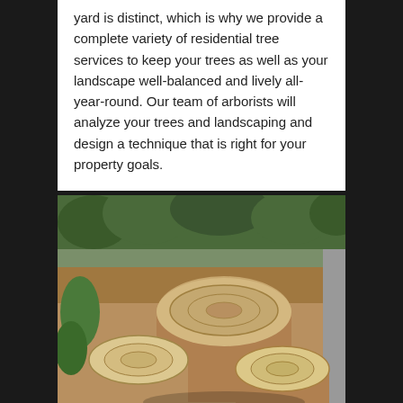yard is distinct, which is why we provide a complete variety of residential tree services to keep your trees as well as your landscape well-balanced and lively all-year-round. Our team of arborists will analyze your trees and landscaping and design a technique that is right for your property goals.
[Figure (photo): Photo of several large tree stumps in a dirt yard with green shrubs in the background]
COMMERCIAL TREE SERVICES
We keep your trees healthy and gorgeous